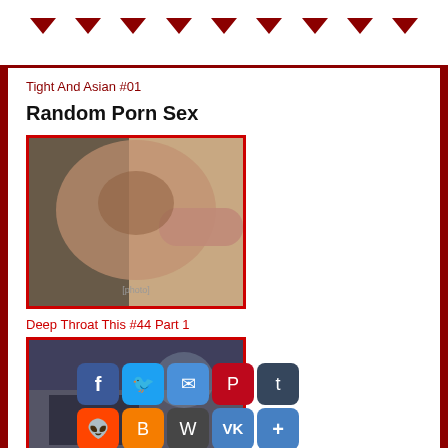▼ ▼ ▼ ▼ ▼ ▼ ▼ ▼ ▼
Tight And Asian #01
Random Porn Sex
[Figure (photo): Adult content photo 1 with red border]
Deep Throat This #44 Part 1
[Figure (photo): Adult content photo 2 with red border and social sharing icons overlay]